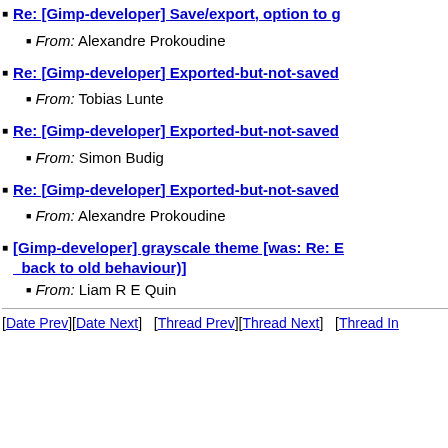Re: [Gimp-developer] Save/export, option to g…
From: Alexandre Prokoudine
Re: [Gimp-developer] Exported-but-not-saved…
From: Tobias Lunte
Re: [Gimp-developer] Exported-but-not-saved…
From: Simon Budig
Re: [Gimp-developer] Exported-but-not-saved…
From: Alexandre Prokoudine
[Gimp-developer] grayscale theme [was: Re: E… back to old behaviour)]
From: Liam R E Quin
[Date Prev][Date Next]   [Thread Prev][Thread Next]   [Thread In…